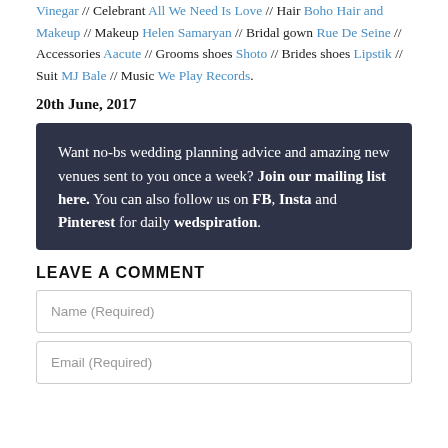Vinegar // Celebrant All We Need Is Love // Hair Boho Hair and Makeup // Makeup Helen Samaryan // Bridal gown Rue De Seine // Accessories Aacute // Grooms shoes Shoto // Brides shoes Lipstik // Suit MJ Bale // Music We Play Records.
20th June, 2017
Want no-bs wedding planning advice and amazing new venues sent to you once a week? Join our mailing list here. You can also follow us on FB, Insta and Pinterest for daily wedspiration.
LEAVE A COMMENT
Name (Required)
Email (Required)